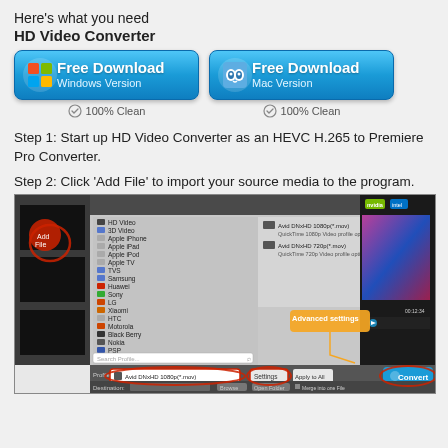Here's what you need
HD Video Converter
[Figure (screenshot): Two blue 'Free Download' buttons side by side — Windows Version and Mac Version — each with OS icon]
100% Clean (x2)
Step 1: Start up HD Video Converter as an HEVC H.265 to Premiere Pro Converter.
Step 2: Click 'Add File' to import your source media to the program.
[Figure (screenshot): Screenshot of HD Video Converter software showing profile menu with device/format list and 'Advanced settings' callout. Profile set to Avid DNxHD 1080p (*.mov), with Settings and Apply to All buttons, Convert button visible.]